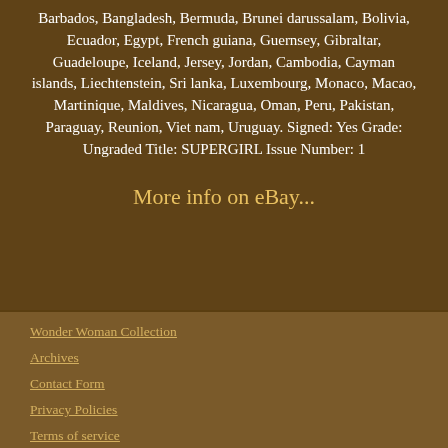Barbados, Bangladesh, Bermuda, Brunei darussalam, Bolivia, Ecuador, Egypt, French guiana, Guernsey, Gibraltar, Guadeloupe, Iceland, Jersey, Jordan, Cambodia, Cayman islands, Liechtenstein, Sri lanka, Luxembourg, Monaco, Macao, Martinique, Maldives, Nicaragua, Oman, Peru, Pakistan, Paraguay, Reunion, Viet nam, Uruguay. Signed: Yes Grade: Ungraded Title: SUPERGIRL Issue Number: 1
More info on eBay...
Wonder Woman Collection
Archives
Contact Form
Privacy Policies
Terms of service